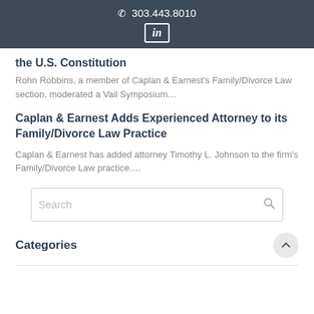303.443.8010  in
the U.S. Constitution
Rohn Robbins, a member of Caplan & Earnest's Family/Divorce Law section, moderated a Vail Symposium…
Caplan & Earnest Adds Experienced Attorney to its Family/Divorce Law Practice
Caplan & Earnest has added attorney Timothy L. Johnson to the firm's Family/Divorce Law practice….
Search
Categories